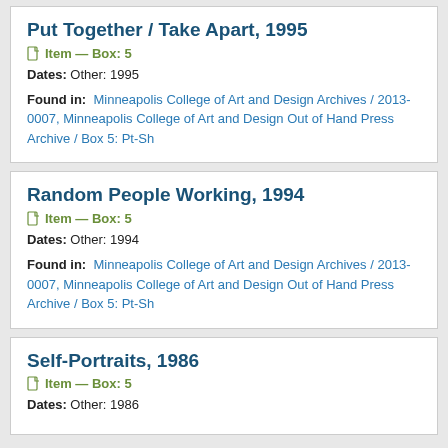Put Together / Take Apart, 1995
Item — Box: 5
Dates: Other: 1995
Found in: Minneapolis College of Art and Design Archives / 2013-0007, Minneapolis College of Art and Design Out of Hand Press Archive / Box 5: Pt-Sh
Random People Working, 1994
Item — Box: 5
Dates: Other: 1994
Found in: Minneapolis College of Art and Design Archives / 2013-0007, Minneapolis College of Art and Design Out of Hand Press Archive / Box 5: Pt-Sh
Self-Portraits, 1986
Item — Box: 5
Dates: Other: 1986